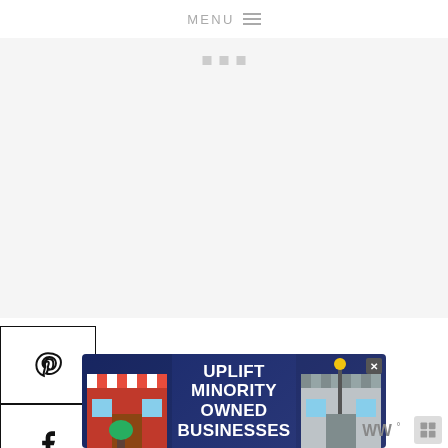MENU
[Figure (screenshot): Website screenshot showing a navigation bar with MENU text and hamburger icon, social sharing sidebar with Pinterest, Facebook, heart/like, Yummly (44), and share buttons, a 'What's Next' content recommendation box showing '5 Top Tips To Get Your...', and an advertisement banner reading 'UPLIFT MINORITY OWNED BUSINESSES'.]